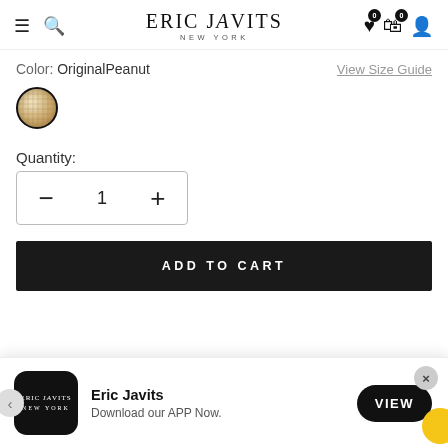Eric Javits New York
Color: OriginalPeanut
View Size Guide
[Figure (illustration): Round color swatch showing OriginalPeanut color - a tan/peanut woven texture, with dark border]
Quantity:
- 1 +
ADD TO CART
Eric Javits
Download our APP Now.
VIEW